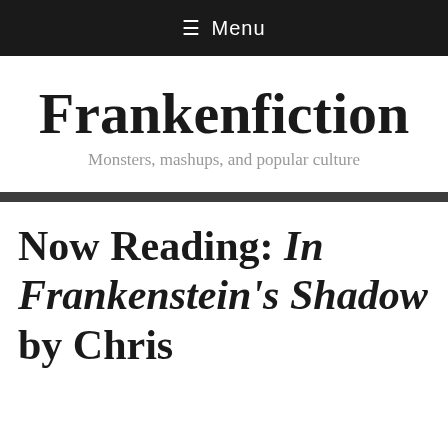≡ Menu
Frankenfiction
Monsters, mashups, and popular culture
Now Reading: In Frankenstein's Shadow by Chris